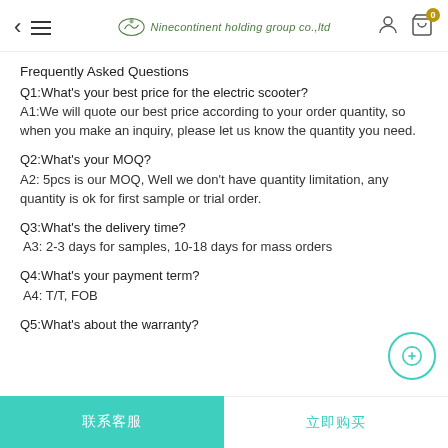Ninecontinent holding group co.,ltd
Frequently Asked Questions
Q1:What's your best price for the electric scooter?
A1:We will quote our best price according to your order quantity, so when you make an inquiry, please let us know the quantity you need.
Q2:What's your MOQ?
A2: 5pcs is our MOQ, Well we don't have quantity limitation, any quantity is ok for first sample or trial order.
Q3:What's the delivery time?
A3: 2-3 days for samples, 10-18 days for mass orders
Q4:What's your payment term?
A4: T/T, FOB
Q5:What's about the warranty?